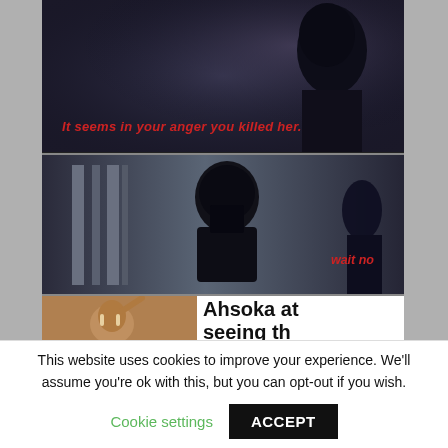[Figure (screenshot): Star Wars scene screenshot — dark misty background with hooded figure, red subtitle text reading 'It seems in your anger you killed her.']
[Figure (screenshot): Star Wars screenshot — Darth Vader in bacta tank chamber, dark background, red text reading 'wait no']
[Figure (screenshot): Partial screenshot — left half shows animated character (Ahsoka Tano with face markings, arm raised), right half shows large bold text 'Ahsoka at seeing th size of h' (text cut off)]
This website uses cookies to improve your experience. We'll assume you're ok with this, but you can opt-out if you wish.
Cookie settings
ACCEPT